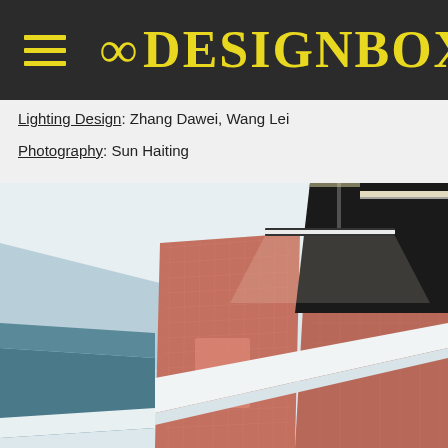8 DESIGNBOX
Lighting Design: Zhang Dawei, Wang Lei
Photography: Sun Haiting
[Figure (photo): Interior architectural photo showing a modern space with light blue walls, salmon/terracotta mosaic tile accent wall, white countertop/ledge, dark ceiling, and a hanging linear pendant light. The perspective is looking down a corridor.]